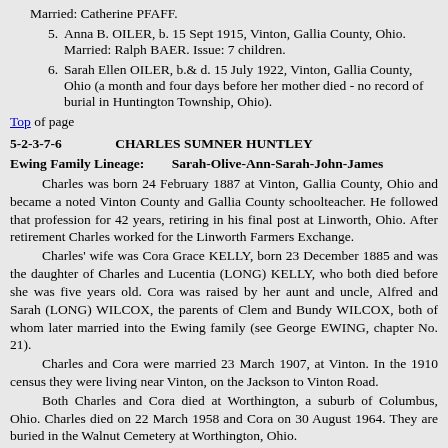Married: Catherine PFAFF.
5. Anna B. OILER, b. 15 Sept 1915, Vinton, Gallia County, Ohio. Married: Ralph BAER. Issue: 7 children.
6. Sarah Ellen OILER, b.& d. 15 July 1922, Vinton, Gallia County, Ohio (a month and four days before her mother died - no record of burial in Huntington Township, Ohio).
Top of page
5-2-3-7-6       CHARLES SUMNER HUNTLEY
Ewing Family Lineage:    Sarah-Olive-Ann-Sarah-John-James
Charles was born 24 February 1887 at Vinton, Gallia County, Ohio and became a noted Vinton County and Gallia County schoolteacher. He followed that profession for 42 years, retiring in his final post at Linworth, Ohio. After retirement Charles worked for the Linworth Farmers Exchange.
Charles' wife was Cora Grace KELLY, born 23 December 1885 and was the daughter of Charles and Lucentia (LONG) KELLY, who both died before she was five years old. Cora was raised by her aunt and uncle, Alfred and Sarah (LONG) WILCOX, the parents of Clem and Bundy WILCOX, both of whom later married into the Ewing family (see George EWING, chapter No. 21).
Charles and Cora were married 23 March 1907, at Vinton. In the 1910 census they were living near Vinton, on the Jackson to Vinton Road.
Both Charles and Cora died at Worthington, a suburb of Columbus, Ohio. Charles died on 22 March 1958 and Cora on 30 August 1964. They are buried in the Walnut Cemetery at Worthington, Ohio.